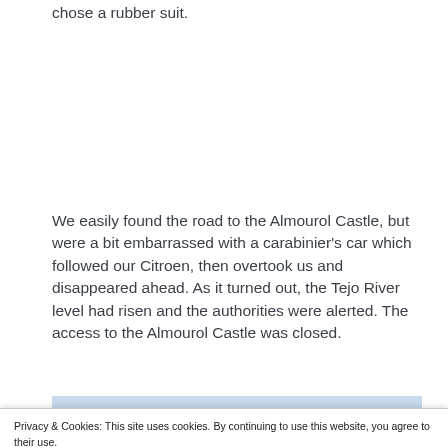chose a rubber suit.
We easily found the road to the Almourol Castle, but were a bit embarrassed with a carabinier's car which followed our Citroen, then overtook us and disappeared ahead. As it turned out, the Tejo River level had risen and the authorities were alerted. The access to the Almourol Castle was closed.
Privacy & Cookies: This site uses cookies. By continuing to use this website, you agree to their use.
To find out more, including how to control cookies, see here: Cookie Policy
Close and accept
[Figure (photo): Bottom strip of a photograph showing outdoor/nature scene with brown and green tones, likely vegetation or foliage near a castle or river area.]